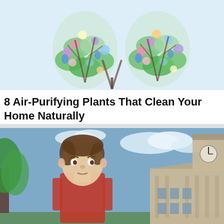[Figure (illustration): Floral arrangement in the shape of human lungs on a light blue background — two lung shapes made from colorful flowers and green leaves]
8 Air-Purifying Plants That Clean Your Home Naturally
GardeningME | Sponsored
[Figure (photo): Young man (resembling Marty McFly from Back to the Future) looking concerned, standing outdoors near a building with a clock tower, green trees visible on the left, blue sky with clouds]